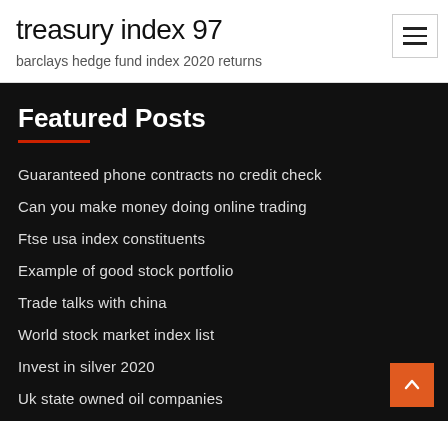treasury index 97
barclays hedge fund index 2020 returns
Featured Posts
Guaranteed phone contracts no credit check
Can you make money doing online trading
Ftse usa index constituents
Example of good stock portfolio
Trade talks with china
World stock market index list
Invest in silver 2020
Uk state owned oil companies